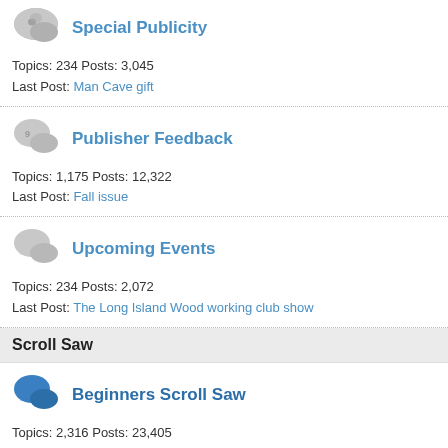Special Publicity
Topics: 234 Posts: 3,045
Last Post: Man Cave gift
Publisher Feedback
Topics: 1,175 Posts: 12,322
Last Post: Fall issue
Upcoming Events
Topics: 234 Posts: 2,072
Last Post: The Long Island Wood working club show
Scroll Saw
Beginners Scroll Saw
Topics: 2,316 Posts: 23,405
Last Post: Wisconsin
General Scroll Saw
Topics: 6,453 Posts: 59,276
Last Post: lion looking to the sky